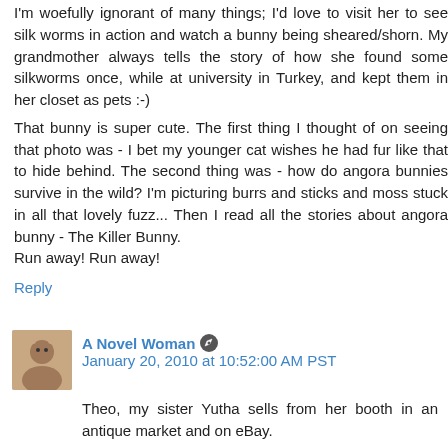I'm woefully ignorant of many things; I'd love to visit her to see silk worms in action and watch a bunny being sheared/shorn. My grandmother always tells the story of how she found some silkworms once, while at university in Turkey, and kept them in her closet as pets :-)
That bunny is super cute. The first thing I thought of on seeing that photo was - I bet my younger cat wishes he had fur like that to hide behind. The second thing was - how do angora bunnies survive in the wild? I'm picturing burrs and sticks and moss stuck in all that lovely fuzz... Then I read all the stories about angora bunny - The Killer Bunny.
Run away! Run away!
Reply
A Novel Woman  January 20, 2010 at 10:52:00 AM PST
Theo, my sister Yutha sells from her booth in an antique market and on eBay.
And Deniz, this was years ago and the woman is long